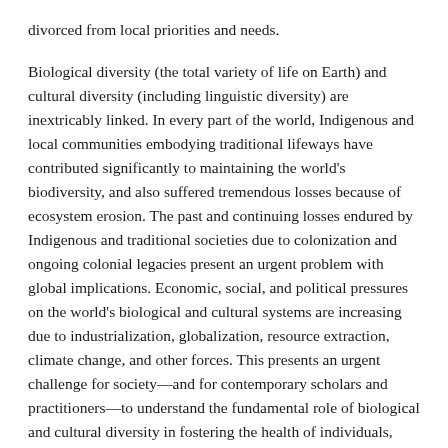divorced from local priorities and needs.
Biological diversity (the total variety of life on Earth) and cultural diversity (including linguistic diversity) are inextricably linked. In every part of the world, Indigenous and local communities embodying traditional lifeways have contributed significantly to maintaining the world's biodiversity, and also suffered tremendous losses because of ecosystem erosion. The past and continuing losses endured by Indigenous and traditional societies due to colonization and ongoing colonial legacies present an urgent problem with global implications. Economic, social, and political pressures on the world's biological and cultural systems are increasing due to industrialization, globalization, resource extraction, climate change, and other forces. This presents an urgent challenge for society—and for contemporary scholars and practitioners—to understand the fundamental role of biological and cultural diversity in fostering the health of individuals, communities, and the ecosystems in which we live.
At the core of cultural and ecological health is the awareness that our social and cultural systems are both dependent on and significantly affect the integrity and functioning of ecological systems. POLIS has approached questions related to cultural and ecological health from a